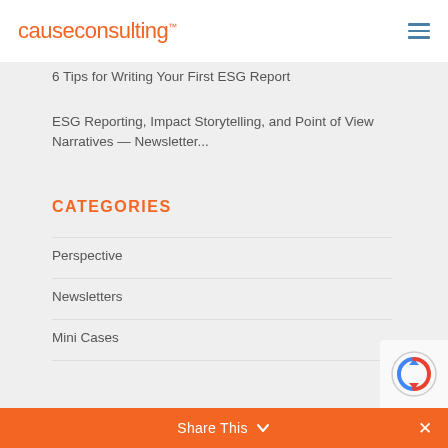causeconsulting™
6 Tips for Writing Your First ESG Report
ESG Reporting, Impact Storytelling, and Point of View Narratives — Newsletter...
CATEGORIES
Perspective
Newsletters
Mini Cases
Share This ∨  ✕